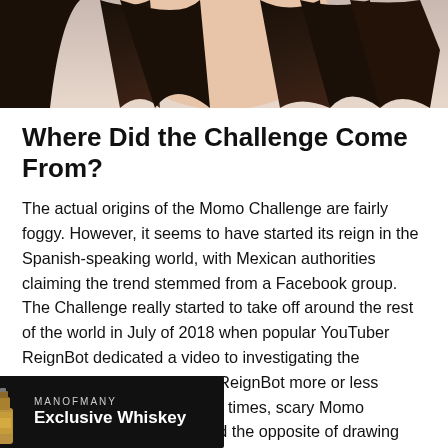[Figure (photo): Partial photo of a person with dark hair against a light background, cropped to show only the top portion]
Where Did the Challenge Come From?
The actual origins of the Momo Challenge are fairly foggy. However, it seems to have started its reign in the Spanish-speaking world, with Mexican authorities claiming the trend stemmed from a Facebook group. The Challenge really started to take off around the rest of the world in July of 2018 when popular YouTuber ReignBot dedicated a video to investigating the phenomenon. In the video, ReignBot more or less debunked the bizarre and at times, scary Momo Challenge. Yet, the video did the opposite of drawing attention away from the challenge, instead, drawing more t
[Figure (infographic): Advertisement banner: Man of Many Exclusive Whiskey ad with orange Buy It Here button, whiskey bottle illustration, on dark background]